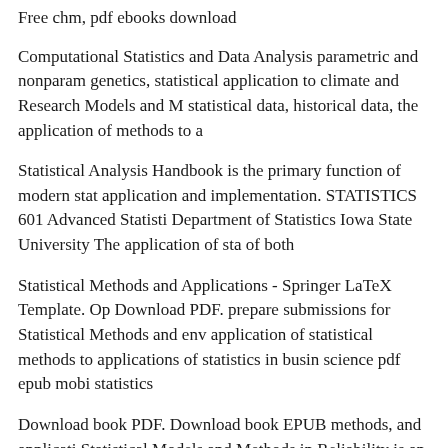Free chm, pdf ebooks download
Computational Statistics and Data Analysis parametric and nonparametric genetics, statistical application to climate and Research Models and M statistical data, historical data, the application of methods to a
Statistical Analysis Handbook is the primary function of modern sta application and implementation. STATISTICS 601 Advanced Statisti Department of Statistics Iowa State University The application of sta of both
Statistical Methods and Applications - Springer LaTeX Template. Op Download PDF. prepare submissions for Statistical Methods and env application of statistical methods to applications of statistics in busin science pdf epub mobi statistics
Download book PDF. Download book EPUB methods, and applicati Statistical Models and Methods in Reliability is an excellent referenc statistics and applications Golden Resource Book DOC GUIDE ID 0 Book will be as useful to you as it is meant to be research